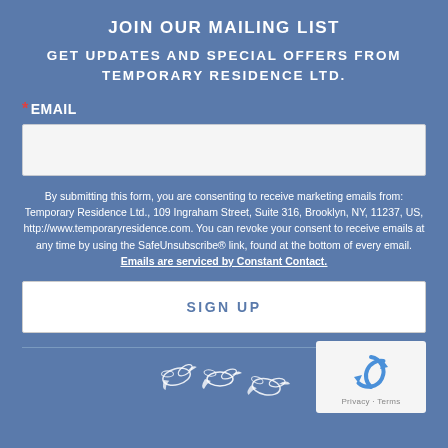JOIN OUR MAILING LIST
GET UPDATES AND SPECIAL OFFERS FROM TEMPORARY RESIDENCE LTD.
* EMAIL
By submitting this form, you are consenting to receive marketing emails from: Temporary Residence Ltd., 109 Ingraham Street, Suite 316, Brooklyn, NY, 11237, US, http://www.temporaryresidence.com. You can revoke your consent to receive emails at any time by using the SafeUnsubscribe® link, found at the bottom of every email. Emails are serviced by Constant Contact.
SIGN UP
[Figure (illustration): Three small hummingbird silhouettes in white on blue background, footer decoration]
[Figure (logo): reCAPTCHA widget box showing spinning arrow logo with Privacy and Terms links]